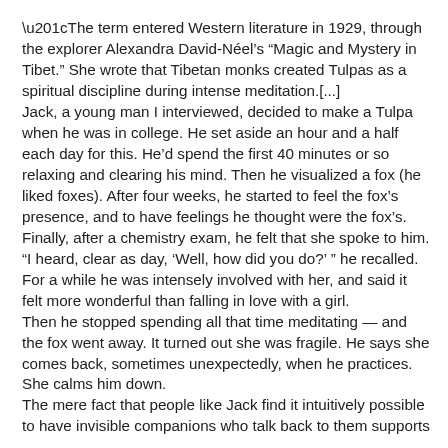“The term entered Western literature in 1929, through the explorer Alexandra David-Néel’s “Magic and Mystery in Tibet.” She wrote that Tibetan monks created Tulpas as a spiritual discipline during intense meditation.[...] Jack, a young man I interviewed, decided to make a Tulpa when he was in college. He set aside an hour and a half each day for this. He’d spend the first 40 minutes or so relaxing and clearing his mind. Then he visualized a fox (he liked foxes). After four weeks, he started to feel the fox’s presence, and to have feelings he thought were the fox’s. Finally, after a chemistry exam, he felt that she spoke to him. “I heard, clear as day, ‘Well, how did you do?’ ” he recalled. For a while he was intensely involved with her, and said it felt more wonderful than falling in love with a girl. Then he stopped spending all that time meditating — and the fox went away. It turned out she was fragile. He says she comes back, sometimes unexpectedly, when he practices. She calms him down. The mere fact that people like Jack find it intuitively possible to have invisible companions who talk back to them supports